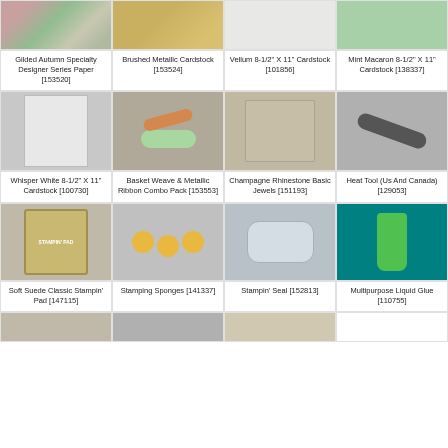[Figure (photo): Gilded Autumn Specialty Designer Series Paper [153520] - partial top view]
[Figure (photo): Brushed Metallic Cardstock [153524] - partial top view]
[Figure (photo): Vellum 8-1/2" X 11" Cardstock [101856] - partial top view]
[Figure (photo): Mint Macaron 8-1/2" X 11" Cardstock [138337] - partial top view]
Gilded Autumn Specialty Designer Series Paper [153520]
Brushed Metallic Cardstock [153524]
Vellum 8-1/2" X 11" Cardstock [101856]
Mint Macaron 8-1/2" X 11" Cardstock [138337]
[Figure (photo): Whisper White 8-1/2" X 11" Cardstock [100730]]
[Figure (photo): Basket Weave & Metallic Ribbon Combo Pack [153553]]
[Figure (photo): Champagne Rhinestone Basic Jewels [151193]]
[Figure (photo): Heat Tool (Us And Canada) [129053]]
Whisper White 8-1/2" X 11" Cardstock [100730]
Basket Weave & Metallic Ribbon Combo Pack [153553]
Champagne Rhinestone Basic Jewels [151193]
Heat Tool (Us And Canada) [129053]
[Figure (photo): Soft Suede Classic Stampin' Pad [147115]]
[Figure (photo): Stamping Sponges [141337]]
[Figure (photo): Stampin' Seal [152813]]
[Figure (photo): Multipurpose Liquid Glue [110755]]
Soft Suede Classic Stampin' Pad [147115]
Stamping Sponges [141337]
Stampin' Seal [152813]
Multipurpose Liquid Glue [110755]